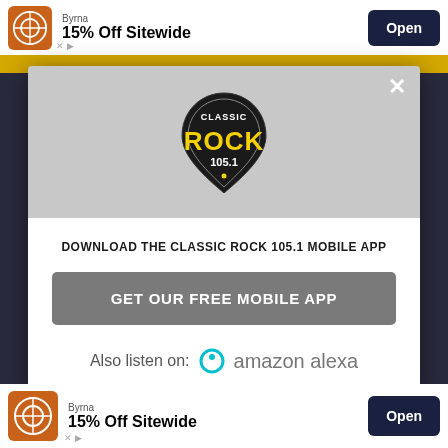[Figure (screenshot): Top advertisement banner: Byrna brand, '15% Off Sitewide', Open button]
[Figure (logo): Classic Rock 105.1 guitar pick logo in modal dialog]
DOWNLOAD THE CLASSIC ROCK 105.1 MOBILE APP
GET OUR FREE MOBILE APP
Also listen on:  amazon alexa
[Figure (screenshot): Bottom advertisement banner: Byrna brand, '15% Off Sitewide', Open button]